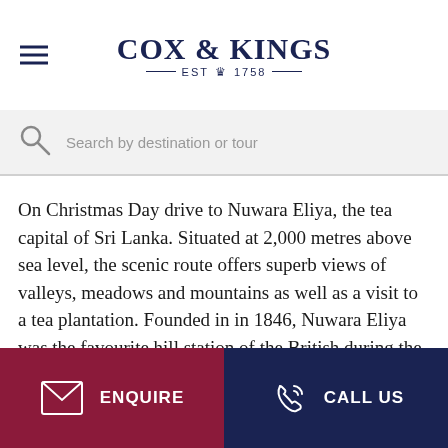COX & KINGS — EST 1758 —
Search by destination or tour
On Christmas Day drive to Nuwara Eliya, the tea capital of Sri Lanka. Situated at 2,000 metres above sea level, the scenic route offers superb views of valleys, meadows and mountains as well as a visit to a tea plantation. Founded in in 1846, Nuwara Eliya was the favourite hill station of the British during the colonial period and its post office, country-style houses and rose gardens are a legacy of this time. Stay in Nuwara Eliya for the night and make sure to
ENQUIRE   CALL US